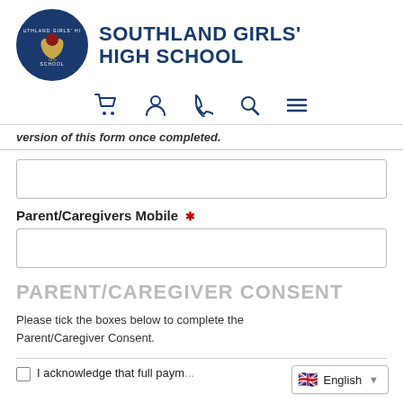[Figure (logo): Southland Girls' High School circular logo with flower emblem on dark blue background]
SOUTHLAND GIRLS' HIGH SCHOOL
[Figure (infographic): Navigation icons: shopping cart, user/person, phone, search, hamburger menu]
version of this form once completed.
[Form input field - empty]
Parent/Caregivers Mobile *
[Form input field - empty]
PARENT/CAREGIVER CONSENT
Please tick the boxes below to complete the Parent/Caregiver Consent.
I acknowledge that full paym... al